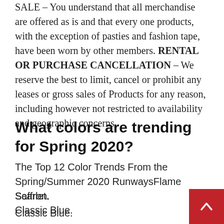SALE – You understand that all merchandise are offered as is and that every one products, with the exception of pasties and fashion tape, have been worn by other members. RENTAL OR PURCHASE CANCELLATION – We reserve the best to limit, cancel or prohibit any leases or gross sales of Products for any reason, including however not restricted to availability and geographic concerns.
What colors are trending for Spring 2020?
The Top 12 Color Trends From the Spring/Summer 2020 RunwaysFlame Scarlet.
Saffron.
Classic Blue.
Biscay Green.
Chive.